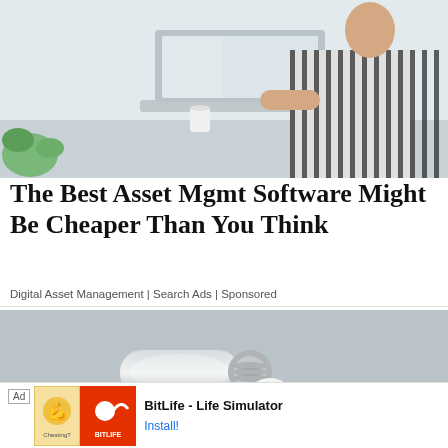[Figure (photo): Person in striped shirt working on a laptop, viewed from above/side, light background with plant visible]
The Best Asset Mgmt Software Might Be Cheaper Than You Think
Digital Asset Management | Search Ads | Sponsored
[Figure (photo): Close-up of a hand squeezing a small tube, dispensing cream/gel onto a fingertip]
Ad  BitLife - Life Simulator  Install!